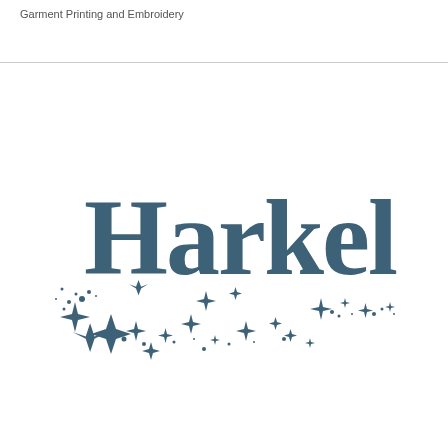Garment Printing and Embroidery
[Figure (logo): Harkel logo in dark teal/slate blue color featuring large stylized serif text 'Harkel' with decorative stars, sparkles, and dot elements scattered below and around the text]